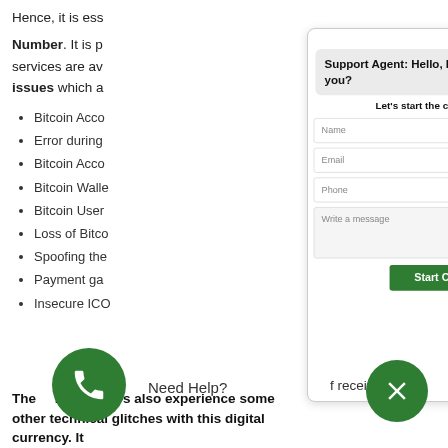Hence, it is ess
Number. It is pl services are ava issues which a
Bitcoin Acco
Error during
Bitcoin Acco
Bitcoin Walle
Bitcoin User
Loss of Bitco
Spoofing the
Payment ga
Insecure ICO
[Figure (screenshot): Chat widget overlay with support agent greeting 'Hello, How can we help you?', form fields for Name, Email, Phone, Write a message, and a green Start Chat button]
Need Help?
f receiving
The bitcoin users also experience some other technical glitches with this digital currency. It